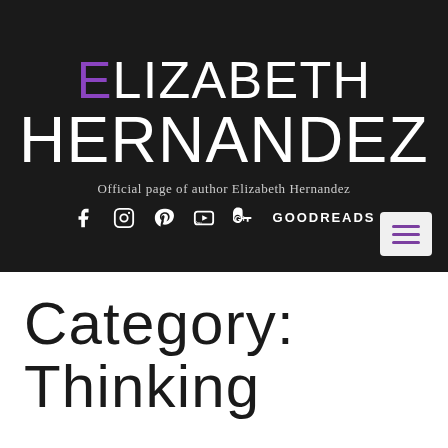ELIZABETH HERNANDEZ — Official page of author Elizabeth Hernandez
CATEGORY: THINKING